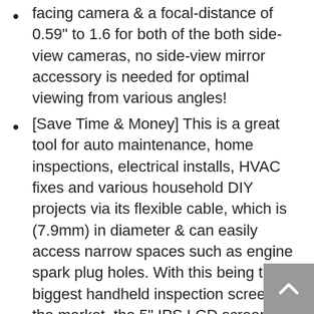facing camera & a focal-distance of 0.59" to 1.6 for both of the both side-view cameras, no side-view mirror accessory is needed for optimal viewing from various angles!
[Save Time & Money] This is a great tool for auto maintenance, home inspections, electrical installs, HVAC fixes and various household DIY projects via its flexible cable, which is (7.9mm) in diameter & can easily access narrow spaces such as engine spark plug holes. With this being the biggest handheld inspection screen on the market, the 5" IPS LCD screen provides 1280x720 HD resolution images & its incorporated IPS technology makes this screen extra bright & legible during use outdoors.
[16.4ft Long Waterproof Flexible Cable with LED Ring Light] Six LED lights are adjustable for brightness and give the forward camera a perfect view of the darkest inspection areas. The both